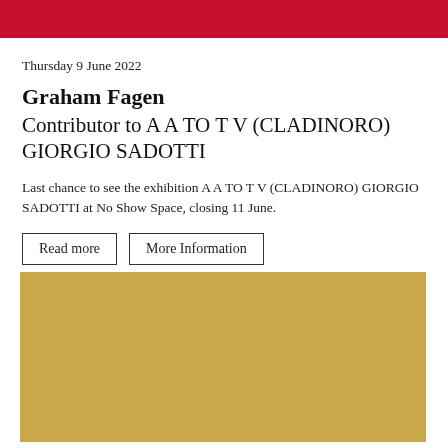Thursday 9 June 2022
Graham Fagen
Contributor to A A TO T V (CLADINORO) GIORGIO SADOTTI
Last chance to see the exhibition A A TO T V (CLADINORO) GIORGIO SADOTTI at No Show Space, closing 11 June.
Read more   More Information
[Figure (photo): A golden/tan colored rectangular image, likely a photograph with a warm golden background]